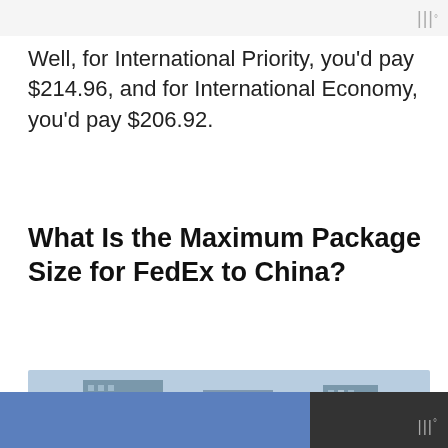|||°
Well, for International Priority, you'd pay $214.96, and for International Economy, you'd pay $206.92.
What Is the Maximum Package Size for FedEx to China?
[Figure (photo): A FedEx delivery truck parked on a busy city street with buildings in the background. The FedEx logo is prominently visible on the side of the truck.]
|||°